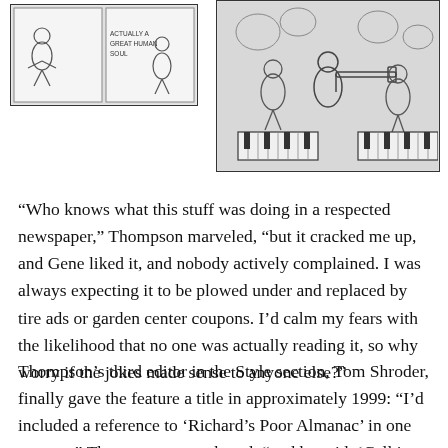[Figure (illustration): Comic strip panel showing cartoon characters with text 'ACTUALLY A GREAT HUMAN SOUL']
[Figure (illustration): Illustration of cartoon animals/figures playing musical instruments including a trombone]
“Who knows what this stuff was doing in a respected newspaper,” Thompson marveled, “but it cracked me up, and Gene liked it, and nobody actively complained. I was always expecting it to be plowed under and replaced by tire ads or garden center coupons. I’d calm my fears with the likelihood that no one was actually reading it, so why worry if the jokes made sense to anyone else?”
Thompson’s third editor in the Style section, Tom Shroder, finally gave the feature a title in approximately 1999: “I’d included a reference to ‘Richard’s Poor Almanac’ in one cartoon,” Thompson remembered, “and he said, ‘Call it that.’” Shroder also